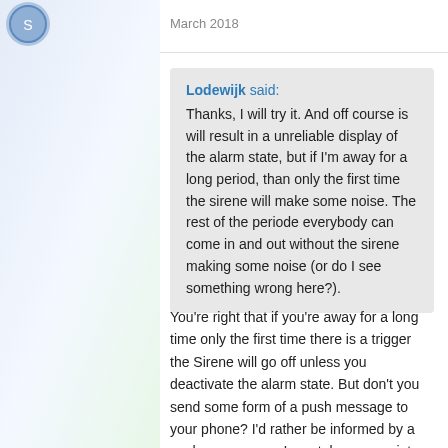March 2018
Lodewijk said:
Thanks, I will try it. And off course is will result in a unreliable display of the alarm state, but if I'm away for a long period, than only the first time the sirene will make some noise. The rest of the periode everybody can come in and out without the sirene making some noise (or do I see something wrong here?).
You're right that if you're away for a long time only the first time there is a trigger the Sirene will go off unless you deactivate the alarm state. But don't you send some form of a push message to your phone? I'd rather be informed by a push message so I can take appropriate actions and then deactivate the alarm state manually on my phone than having that